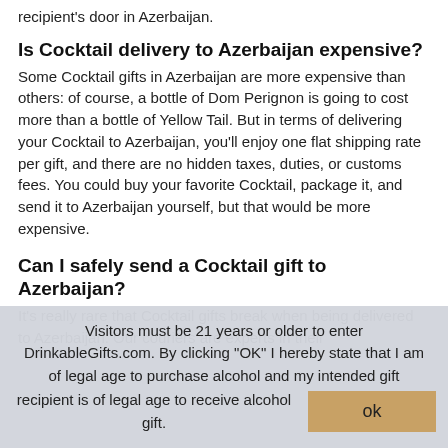recipient's door in Azerbaijan.
Is Cocktail delivery to Azerbaijan expensive?
Some Cocktail gifts in Azerbaijan are more expensive than others: of course, a bottle of Dom Perignon is going to cost more than a bottle of Yellow Tail. But in terms of delivering your Cocktail to Azerbaijan, you'll enjoy one flat shipping rate per gift, and there are no hidden taxes, duties, or customs fees. You could buy your favorite Cocktail, package it, and send it to Azerbaijan yourself, but that would be more expensive.
Can I safely send a Cocktail gift to Azerbaijan?
It's really rare that Cocktail gifts break when being delivered to Azerbaijan. Our couriers are experts in their
Visitors must be 21 years or older to enter DrinkableGifts.com. By clicking "OK" I hereby state that I am of legal age to purchase alcohol and my intended gift recipient is of legal age to receive alcohol gift.